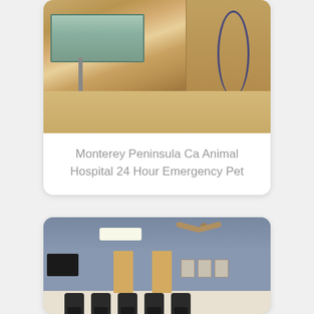[Figure (photo): Interior of a veterinary examination room with a metal-framed examination table with blue pad, wooden cabinetry along the walls, beige flooring, and medical equipment including a flexible hose/tubing on the right side.]
Monterey Peninsula Ca Animal Hospital 24 Hour Emergency Pet
[Figure (photo): Interior of a veterinary clinic waiting room with gray walls, cream/tan lower wall trim, yellow/tan doors, black chairs arranged in a row, a ceiling fan, a TV mounted on the wall, framed pictures on the wall, and a water cooler visible on the left.]